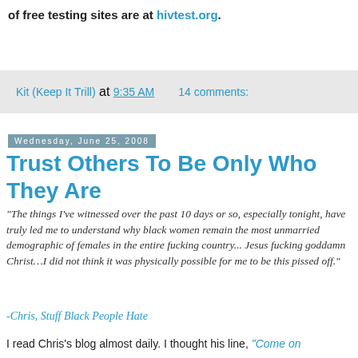of free testing sites are at hivtest.org.
Kit (Keep It Trill) at 9:35 AM   14 comments:
Wednesday, June 25, 2008
Trust Others To Be Only Who They Are
"The things I've witnessed over the past 10 days or so, especially tonight, have truly led me to understand why black women remain the most unmarried demographic of females in the entire fucking country... Jesus fucking goddamn Christ…I did not think it was physically possible for me to be this pissed off."
-Chris, Stuff Black People Hate
I read Chris's blog almost daily. I thought his line, "Come on